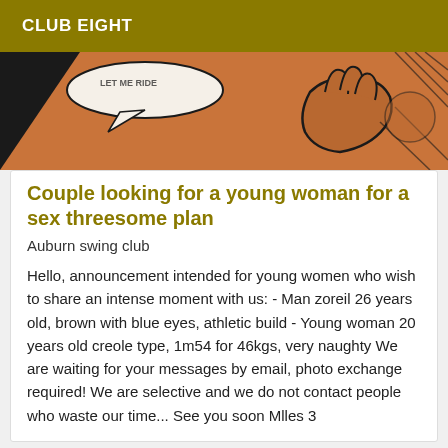CLUB EIGHT
[Figure (illustration): Comic-style illustration with orange and black tones, showing a speech bubble with text and a hand]
Couple looking for a young woman for a sex threesome plan
Auburn swing club
Hello, announcement intended for young women who wish to share an intense moment with us: - Man zoreil 26 years old, brown with blue eyes, athletic build - Young woman 20 years old creole type, 1m54 for 46kgs, very naughty We are waiting for your messages by email, photo exchange required! We are selective and we do not contact people who waste our time... See you soon Mlles 3
[Figure (photo): Partial photo visible at bottom of page]